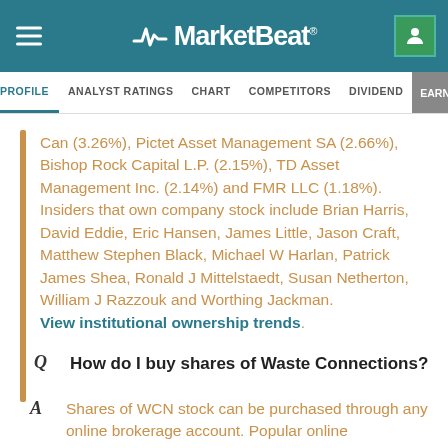MarketBeat
PROFILE | ANALYST RATINGS | CHART | COMPETITORS | DIVIDEND | EARNINGS
Can (3.26%), Pictet Asset Management SA (2.66%), Bishop Rock Capital L.P. (2.15%), TD Asset Management Inc. (2.14%) and FMR LLC (1.18%). Insiders that own company stock include Brian Harris, David Eddie, Eric Hansen, James Little, Jason Craft, Matthew Stephen Black, Michael W Harlan, Patrick James Shea, Ronald J Mittelstaedt, Susan Netherton, William J Razzouk and Worthing Jackman. View institutional ownership trends.
How do I buy shares of Waste Connections?
Shares of WCN stock can be purchased through any online brokerage account. Popular online